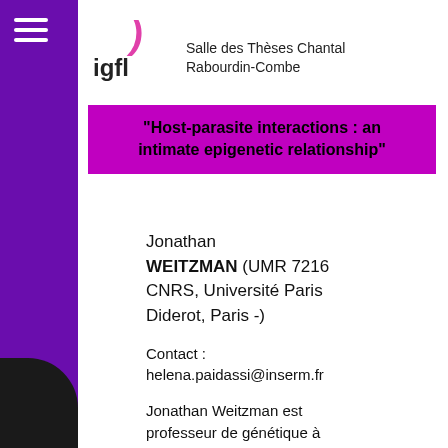[Figure (logo): IGFL institute logo with pink decorative mark and text 'igfl']
Salle des Thèses Chantal Rabourdin-Combe
"Host-parasite interactions : an intimate epigenetic relationship"
Jonathan WEITZMAN (UMR 7216 CNRS, Université Paris Diderot, Paris -)
Contact : helena.paidassi@inserm.fr
Jonathan Weitzman est professeur de génétique à l'Université Paris Diderot, fondateur et directeur de l'unité "Epigénétique et destin...